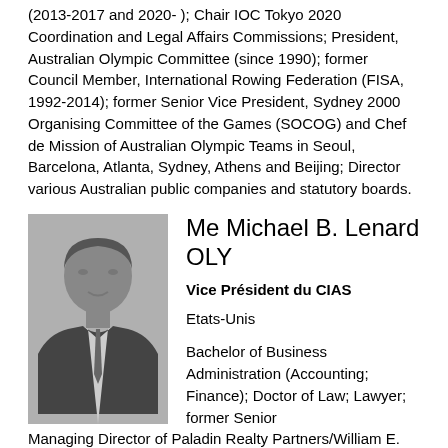(2013-2017 and 2020- ); Chair IOC Tokyo 2020 Coordination and Legal Affairs Commissions; President, Australian Olympic Committee (since 1990);  former Council Member, International Rowing Federation (FISA, 1992-2014); former Senior Vice President, Sydney 2000 Organising Committee of the Games (SOCOG) and Chef de Mission of Australian Olympic Teams in Seoul, Barcelona, Atlanta, Sydney, Athens and Beijing; Director various Australian public companies and statutory boards.
[Figure (photo): Black and white headshot of Me Michael B. Lenard OLY, a middle-aged man in a suit and tie]
Me Michael B. Lenard OLY
Vice Président du CIAS
Etats-Unis
Bachelor of Business Administration (Accounting; Finance); Doctor of Law; Lawyer; former Senior Managing Director of Paladin Realty Partners/William E. Simon & Sons private equity firm; former Partner in the international law firm of Latham & Watkins; with respect to the United States Olympic Committee, formerly, inter alia, its Vice-President, member of its Executive Committee and Board of Directors, Chair of its Key Strategies Task Force and Joint Marketing Committee, Special Counsel to its Ethics Committee, head of its Athletes Performance Group and member and